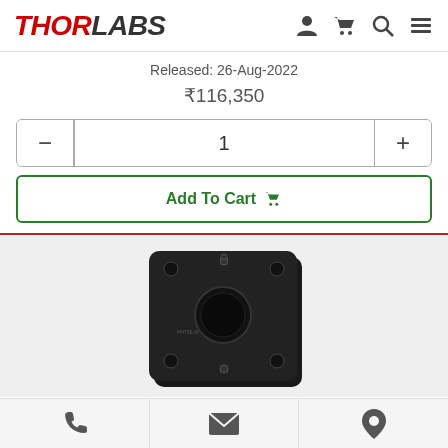THORLABS
Released: 26-Aug-2022
₹116,350
1
Add To Cart
[Figure (photo): Black square optical mount with central circular aperture and multiple mounting holes, Thorlabs product]
Phone | Email | Location icons